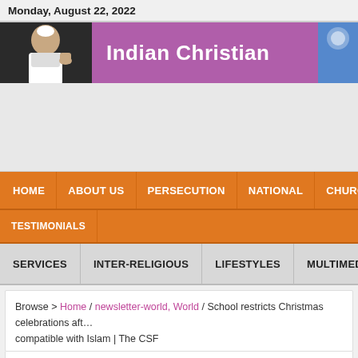Monday, August 22, 2022
[Figure (screenshot): Indian Christian website header banner with photo of Pope Francis on left and purple/magenta background with site name 'Indian Christian' in white bold text]
[Figure (other): Advertisement/empty gray area below header]
HOME | ABOUT US | PERSECUTION | NATIONAL | CHURCH
TESTIMONIALS
SERVICES | INTER-RELIGIOUS | LIFESTYLES | MULTIMEDIA
Browse > Home / newsletter-world, World / School restricts Christmas celebrations aft… compatible with Islam | The CSF
School restricts Christmas celebrations after M…